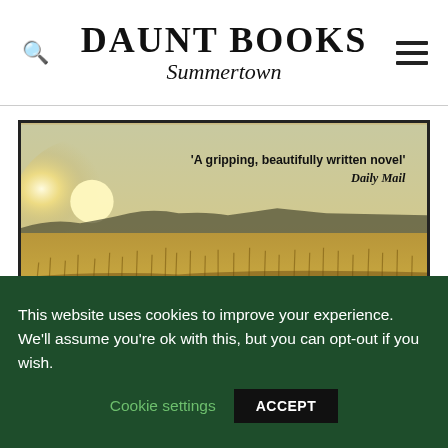DAUNT BOOKS Summertown
[Figure (photo): Book cover showing a golden field of tall grass under a hazy sky with a setting sun. Text overlay reads: 'A gripping, beautifully written novel' Daily Mail]
This website uses cookies to improve your experience. We'll assume you're ok with this, but you can opt-out if you wish.
Cookie settings   ACCEPT